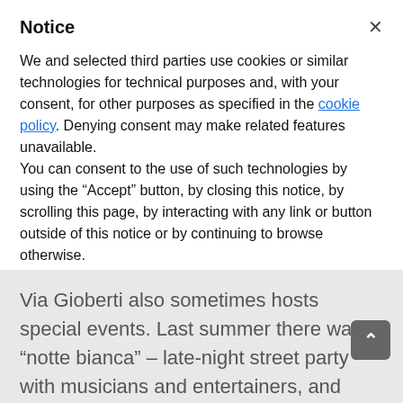Notice
We and selected third parties use cookies or similar technologies for technical purposes and, with your consent, for other purposes as specified in the cookie policy. Denying consent may make related features unavailable.
You can consent to the use of such technologies by using the “Accept” button, by closing this notice, by scrolling this page, by interacting with any link or button outside of this notice or by continuing to browse otherwise.
Accept
Learn more and customize
Via Gioberti also sometimes hosts special events. Last summer there was a “notte bianca” – late-night street party – with musicians and entertainers, and shops open till midnight. The